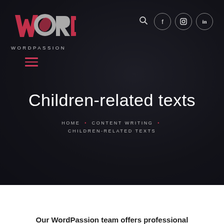[Figure (logo): WordPassion logo — stylized WORD letters with red W accent and WORDPASSION text below]
HOME • CONTENT WRITING • CHILDREN-RELATED TEXTS
Children-related texts
HOME • CONTENT WRITING • CHILDREN-RELATED TEXTS
Our WordPassion team offers professional